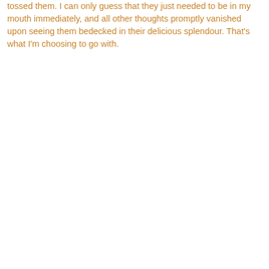tossed them.  I can only guess that they just needed to be in my mouth immediately, and all other thoughts promptly vanished upon seeing them bedecked in their delicious splendour.  That's what I'm choosing to go with.